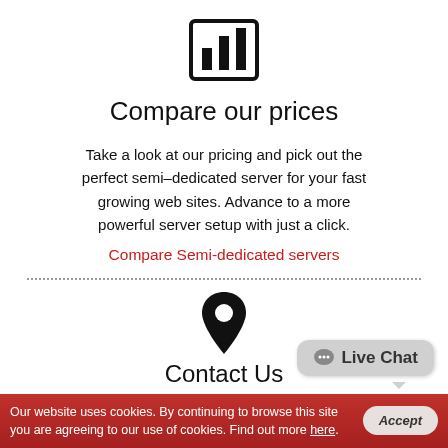[Figure (illustration): Bar chart icon in a square box, representing data comparison]
Compare our prices
Take a look at our pricing and pick out the perfect semi–dedicated server for your fast growing web sites. Advance to a more powerful server setup with just a click.
Compare Semi-dedicated servers
...........................................................................
[Figure (illustration): Location pin / map marker icon]
Contact Us
Live Chat
Our website uses cookies. By continuing to browse this site you are agreeing to our use of cookies. Find out more here.